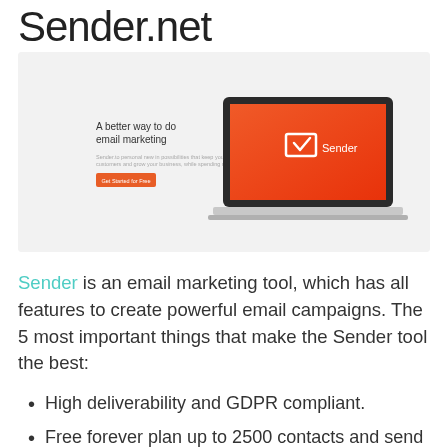Sender.net
[Figure (screenshot): Screenshot of Sender.net website showing a laptop with orange/red gradient screen displaying the Sender logo and checkmark envelope icon. Left side shows 'A better way to do email marketing' tagline with small descriptive text and an orange call-to-action button.]
Sender is an email marketing tool, which has all features to create powerful email campaigns. The 5 most important things that make the Sender tool the best:
High deliverability and GDPR compliant.
Free forever plan up to 2500 contacts and send up to 15000